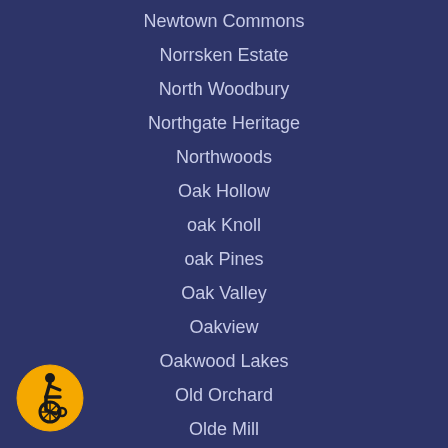Newtown Commons
Norrsken Estate
North Woodbury
Northgate Heritage
Northwoods
Oak Hollow
oak Knoll
oak Pines
Oak Valley
Oakview
Oakwood Lakes
Old Orchard
Olde Mill
Olde Pines
Olde Springs
Orchards
Orchards
[Figure (illustration): Accessibility wheelchair icon — yellow circle with black wheelchair user symbol]